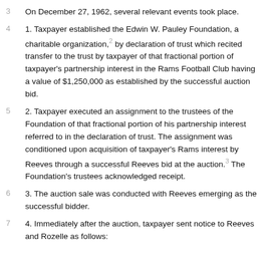On December 27, 1962, several relevant events took place.
1. Taxpayer established the Edwin W. Pauley Foundation, a charitable organization,2 by declaration of trust which recited transfer to the trust by taxpayer of that fractional portion of taxpayer's partnership interest in the Rams Football Club having a value of $1,250,000 as established by the successful auction bid.
2. Taxpayer executed an assignment to the trustees of the Foundation of that fractional portion of his partnership interest referred to in the declaration of trust. The assignment was conditioned upon acquisition of taxpayer's Rams interest by Reeves through a successful Reeves bid at the auction.3 The Foundation's trustees acknowledged receipt.
3. The auction sale was conducted with Reeves emerging as the successful bidder.
4. Immediately after the auction, taxpayer sent notice to Reeves and Rozelle as follows: